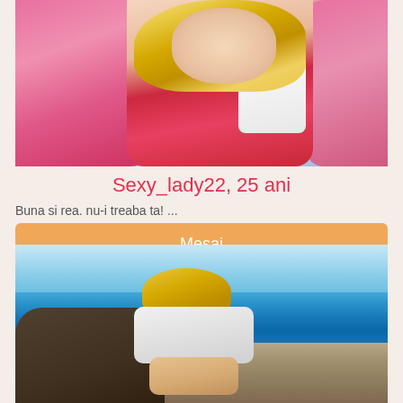[Figure (photo): Woman with blonde hair wearing red clothing, reclining on pink/magenta pillows or cushions, with a white object visible. Outdoor or lounge setting.]
Sexy_lady22, 25 ani
Buna si rea. nu-i treaba ta! ...
Mesaj
[Figure (photo): Young blonde woman sitting on rocky coastline looking out at a bright blue sea/ocean, wearing a white top. Sunny day.]